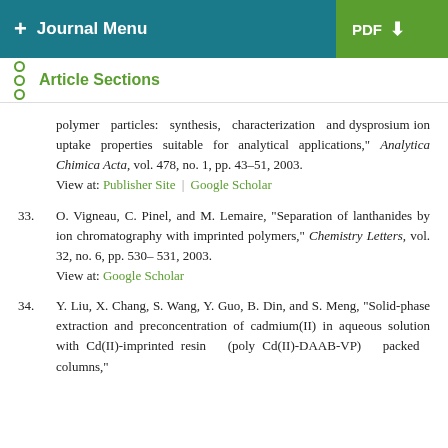+ Journal Menu | PDF (download)
Article Sections
polymer particles: synthesis, characterization and dysprosium ion uptake properties suitable for analytical applications," Analytica Chimica Acta, vol. 478, no. 1, pp. 43–51, 2003.
View at: Publisher Site | Google Scholar
33. O. Vigneau, C. Pinel, and M. Lemaire, "Separation of lanthanides by ion chromatography with imprinted polymers," Chemistry Letters, vol. 32, no. 6, pp. 530–531, 2003.
View at: Google Scholar
34. Y. Liu, X. Chang, S. Wang, Y. Guo, B. Din, and S. Meng, "Solid-phase extraction and preconcentration of cadmium(II) in aqueous solution with Cd(II)-imprinted resin (poly Cd(II)-DAAB-VP) packed columns,"